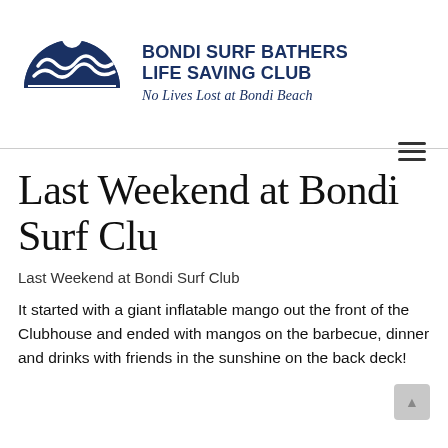[Figure (logo): Bondi Surf Bathers Life Saving Club logo — dark navy blue semicircle with white wave and figure design, BONDI text below]
BONDI SURF BATHERS LIFE SAVING CLUB
No Lives Lost at Bondi Beach
Last Weekend at Bondi Surf Clu
Last Weekend at Bondi Surf Club
It started with a giant inflatable mango out the front of the Clubhouse and ended with mangos on the barbecue, dinner and drinks with friends in the sunshine on the back deck!